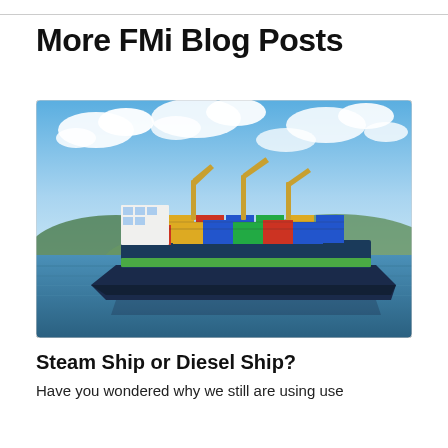More FMi Blog Posts
[Figure (photo): A large blue container ship loaded with colorful shipping containers (blue, yellow, red, green) sailing on calm water with green hills and a partly cloudy blue sky in the background.]
Steam Ship or Diesel Ship?
Have you wondered why we still are using use